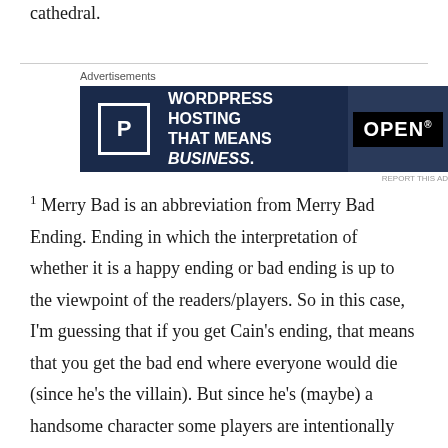cathedral.
[Figure (other): Pressable WordPress Hosting advertisement banner. Dark navy background with a white P logo box on the left, bold white text reading 'WORDPRESS HOSTING THAT MEANS BUSINESS.' and an OPEN sign image on the right.]
1 Merry Bad is an abbreviation from Merry Bad Ending. Ending in which the interpretation of whether it is a happy ending or bad ending is up to the viewpoint of the readers/players. So in this case, I'm guessing that if you get Cain's ending, that means that you get the bad end where everyone would die (since he's the villain). But since he's (maybe) a handsome character some players are intentionally trying to get that ending, and when they get it, it's a 'happy ending' for them.